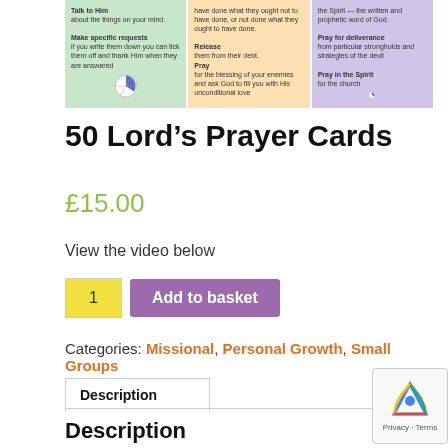[Figure (illustration): Product image showing Lord's Prayer Cards with three colored columns (green, peach, lavender), each featuring text and a pie-chart wheel icon.]
50 Lord’s Prayer Cards
£15.00
View the video below
1   Add to basket
Categories: Missional, Personal Growth, Small Groups
Description
Description